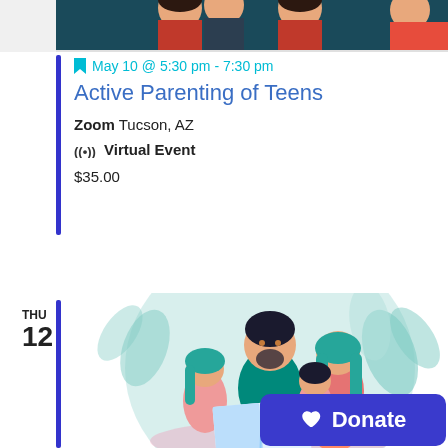[Figure (illustration): Partial top banner illustration showing cartoon characters — tops of heads of people visible at top edge of page]
May 10 @ 5:30 pm - 7:30 pm
Active Parenting of Teens
Zoom Tucson, AZ
((•)) Virtual Event
$35.00
THU
12
[Figure (illustration): Cartoon illustration of a family — father with beard, mother with blue/teal hair, two children reading a large book together, cat at bottom, teal background with leaves]
Donate